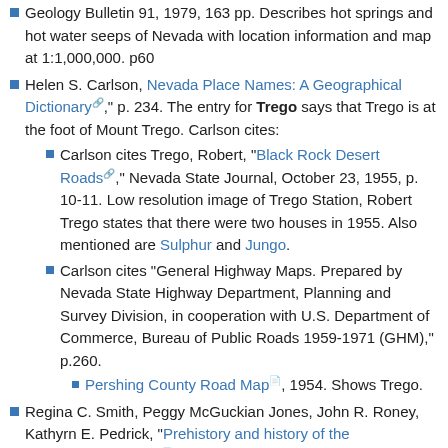Geology Bulletin 91, 1979, 163 pp. Describes hot springs and hot water seeps of Nevada with location information and map at 1:1,000,000. p60
Helen S. Carlson, Nevada Place Names: A Geographical Dictionary, p. 234. The entry for Trego says that Trego is at the foot of Mount Trego. Carlson cites:
Carlson cites Trego, Robert, "Black Rock Desert Roads," Nevada State Journal, October 23, 1955, p. 10-11. Low resolution image of Trego Station, Robert Trego states that there were two houses in 1955. Also mentioned are Sulphur and Jungo.
Carlson cites "General Highway Maps. Prepared by Nevada State Highway Department, Planning and Survey Division, in cooperation with U.S. Department of Commerce, Bureau of Public Roads 1959-1971 (GHM)," p.260.
Pershing County Road Map, 1954. Shows Trego.
Regina C. Smith, Peggy McGuckian Jones, John R. Roney, Kathyrn E. Pedrick, "Prehistory and history of the Winnemucca District," BLM, 1984:
17. 26Pell8, Trego Hot Springs
The Nevada State Museum surveyed 86 miles along a proposed Bell Telephone undergound route in 1971. Among the sites found during this survey was 26Pell8, a major occupation site near Trego Hot Spring. Test excavations showed signif_icant depth and cultural features. Nevada Bell